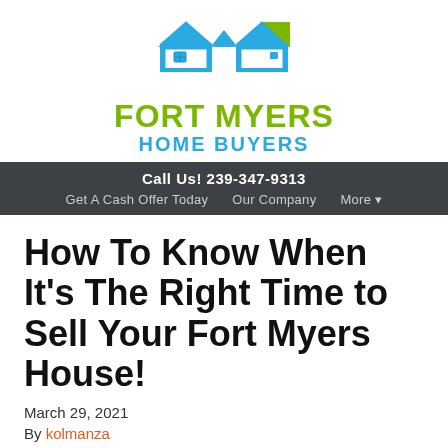[Figure (logo): Fort Myers Home Buyers logo with house icon in blue and green above the text]
Call Us! 239-347-9313
Get A Cash Offer Today   Our Company   More ▾
How To Know When It's The Right Time to Sell Your Fort Myers House!
March 29, 2021
By kolmanza